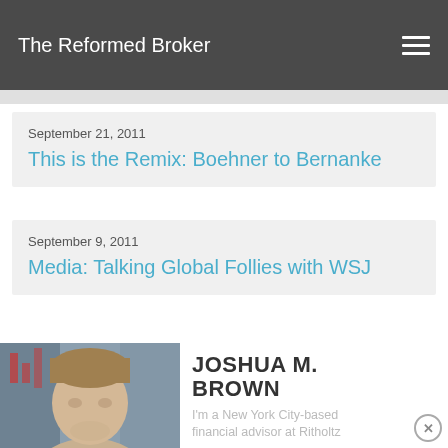The Reformed Broker
September 21, 2011
This is the Remix: Boehner to Bernanke
September 9, 2011
Media: Talking Global Follies with WSJ
[Figure (photo): Headshot of Joshua M. Brown, a man with short hair, photo taken outdoors near a financial display board]
JOSHUA M. BROWN
I'm a New York City-based financial advisor at Ritholtz